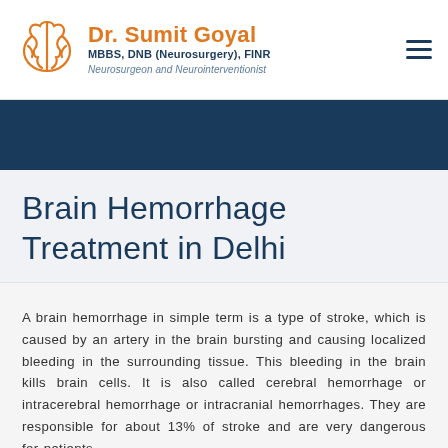Dr. Sumit Goyal MBBS, DNB (Neurosurgery), FINR Neurosurgeon and Neurointerventionist
Brain Hemorrhage Treatment in Delhi
A brain hemorrhage in simple term is a type of stroke, which is caused by an artery in the brain bursting and causing localized bleeding in the surrounding tissue. This bleeding in the brain kills brain cells. It is also called cerebral hemorrhage or intracerebral hemorrhage or intracranial hemorrhages. They are responsible for about 13% of stroke and are very dangerous for patients.